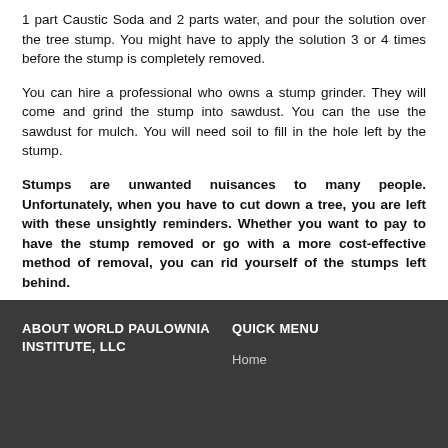1 part Caustic Soda and 2 parts water, and pour the solution over the tree stump. You might have to apply the solution 3 or 4 times before the stump is completely removed.
You can hire a professional who owns a stump grinder. They will come and grind the stump into sawdust. You can the use the sawdust for mulch. You will need soil to fill in the hole left by the stump.
Stumps are unwanted nuisances to many people. Unfortunately, when you have to cut down a tree, you are left with these unsightly reminders. Whether you want to pay to have the stump removed or go with a more cost-effective method of removal, you can rid yourself of the stumps left behind.
ABOUT WORLD PAULOWNIA INSTITUTE, LLC | QUICK MENU | Home